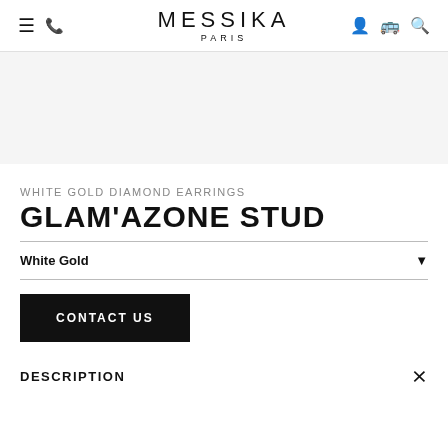MESSIKA PARIS
[Figure (other): Gray banner/image area for product photo]
WHITE GOLD DIAMOND EARRINGS
GLAM'AZONE STUD
White Gold
CONTACT US
DESCRIPTION